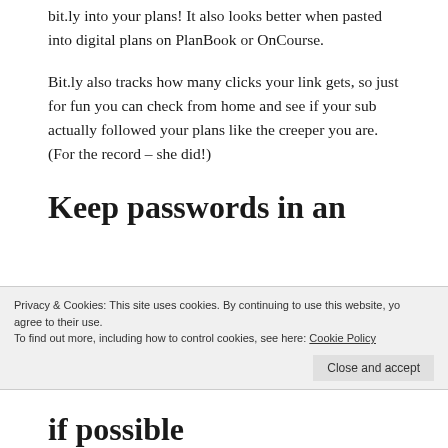bit.ly into your plans!  It also looks better when pasted into digital plans on PlanBook or OnCourse.
Bit.ly also tracks how many clicks your link gets, so just for fun you can check from home and see if your sub actually followed your plans like the creeper you are. (For the record – she did!)
Keep passwords in an
Privacy & Cookies: This site uses cookies. By continuing to use this website, you agree to their use.
To find out more, including how to control cookies, see here: Cookie Policy
Close and accept
if possible